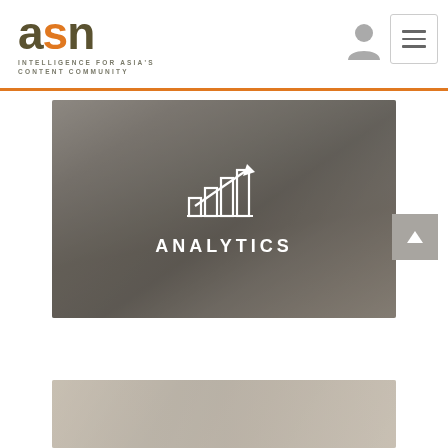[Figure (logo): ASN logo with orange 'S' and dark 'A','N' letters, tagline 'INTELLIGENCE FOR ASIA'S CONTENT COMMUNITY']
[Figure (screenshot): User account icon (person silhouette) in gray]
[Figure (screenshot): Hamburger menu button (three horizontal lines in bordered box)]
[Figure (photo): Blurred office/desk background image with centered analytics icon (bar chart with upward arrow) and 'ANALYTICS' text overlay]
ANALYTICS
[Figure (photo): Partial blurred image at the bottom of the page, appears to show colorful items on a surface]